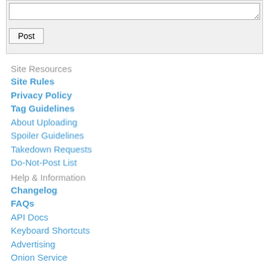[textarea/Post button area]
Site Resources
Site Rules
Privacy Policy
Tag Guidelines
About Uploading
Spoiler Guidelines
Takedown Requests
Do-Not-Post List
Help & Information
Changelog
FAQs
API Docs
Keyboard Shortcuts
Advertising
Onion Service
Community
Contact
Donations
Site Staff List
Statistics
About
Twitter
Powered by philomena (40.823ms)